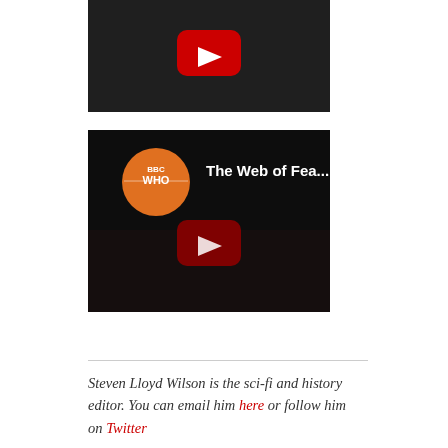[Figure (screenshot): Partially visible YouTube video thumbnail with YouTube play button icon on dark/grainy background]
[Figure (screenshot): YouTube video thumbnail showing 'The Web of Fea...' with BBC Who channel logo (orange circle) and YouTube play button on dark background with figures]
Steven Lloyd Wilson is the sci-fi and history editor. You can email him here or follow him on Twitter